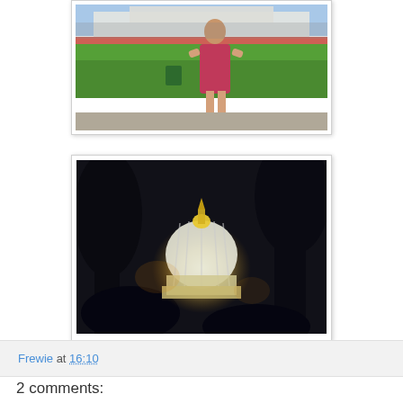[Figure (photo): Woman in pink dress standing on green lawn with white building/monument in background, daytime outdoor photo]
[Figure (photo): Night photo of illuminated dome (St. Peter's Basilica) seen through dark trees against a dark sky]
Frewie at 16:10
2 comments: